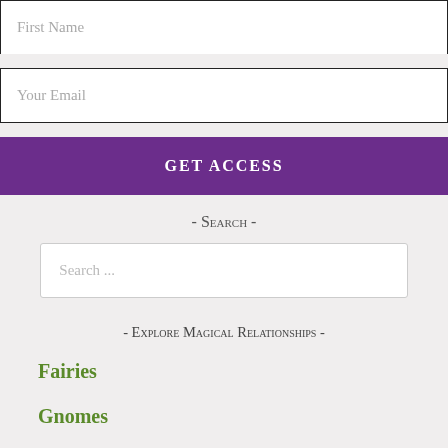First Name
Your Email
GET ACCESS
- Search -
Search ...
- Explore Magical Relationships -
Fairies
Gnomes